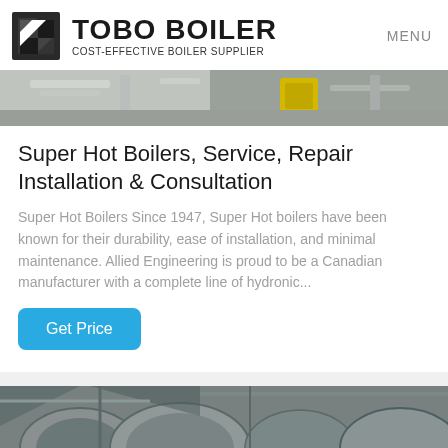TOBO BOILER COST-EFFECTIVE BOILER SUPPLIER | MENU
[Figure (photo): Industrial boiler room interior with pipes and yellow machinery, partial view at top of page]
Super Hot Boilers, Service, Repair Installation & Consultation
Super Hot Boilers Since 1947, Super Hot boilers have been known for their durability, ease of installation, and minimal maintenance. Allied Engineering is proud to be a Canadian manufacturer with a complete line of hydronic...
[Figure (photo): Industrial boiler room interior with large pipes and ductwork, bottom of page]